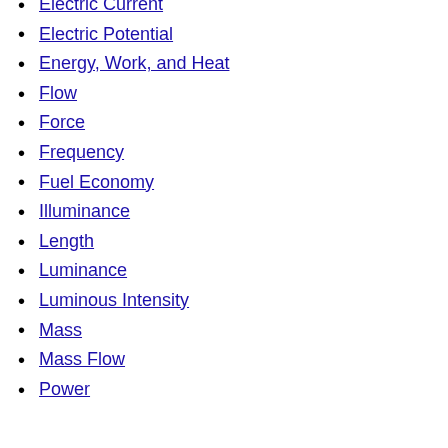Electric Current
Electric Potential
Energy, Work, and Heat
Flow
Force
Frequency
Fuel Economy
Illuminance
Length
Luminance
Luminous Intensity
Mass
Mass Flow
Power